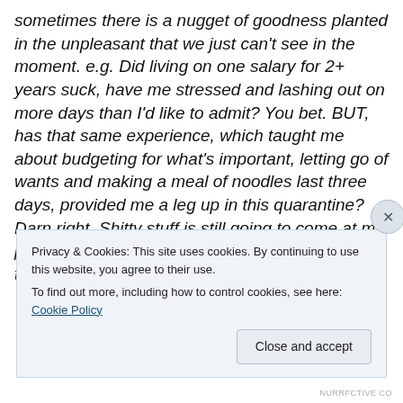sometimes there is a nugget of goodness planted in the unpleasant that we just can't see in the moment. e.g. Did living on one salary for 2+ years suck, have me stressed and lashing out on more days than I'd like to admit? You bet. BUT, has that same experience, which taught me about budgeting for what's important, letting go of wants and making a meal of noodles last three days, provided me a leg up in this quarantine? Darn right. Shitty stuff is still going to come at me post pandemic but when it does, I'm going to trust a little more, even if I can't see all the pieces
Privacy & Cookies: This site uses cookies. By continuing to use this website, you agree to their use.
To find out more, including how to control cookies, see here: Cookie Policy
Close and accept
NURRFCTIVE CO